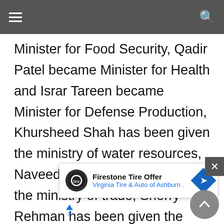navigation bar with hamburger menu and search icon
Minister for Food Security, Qadir Patel became Minister for Health and Israr Tareen became Minister for Defense Production, Khursheed Shah has been given the ministry of water resources, Naveed Qamar has been given the ministry of trade, Sherry Rehman has been given the ministry of climate change, Murtaza Mahmood has been given the ministry of industry and production, Aminul Haq has been given the ministry of information technology and mini
[Figure (other): Advertisement overlay for Firestone Tire Offer by Virginia Tire & Auto of Ashburn, with logo, navigation icon, close button, and scroll-to-top button]